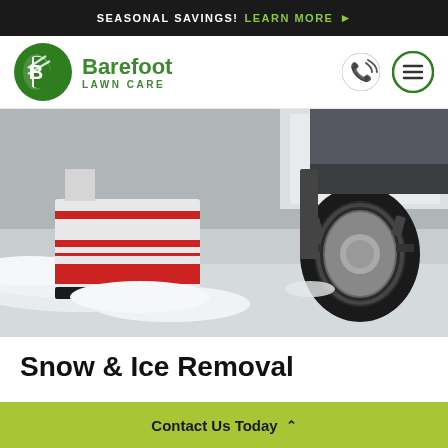SEASONAL SAVINGS! LEARN MORE ▶
[Figure (logo): Barefoot Lawn Care logo — green circle with stylized B/leaf mark, green text reading 'Barefoot LAWN CARE']
[Figure (photo): Close-up photo of a snow plow blade pushing snow on a pavement surface, with a truck tire visible in the background. The plow blade has red and white striped markings.]
Snow & Ice Removal
Contact Us Today